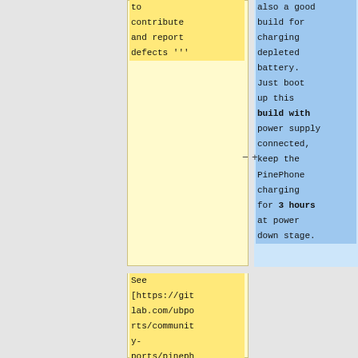to contribute and report defects '''
also a good build for charging depleted battery. Just boot up this build with power supply connected, keep the PinePhone charging for 3 hours at power down stage.
See [https://gitlab.com/ubports/community-ports/pineph